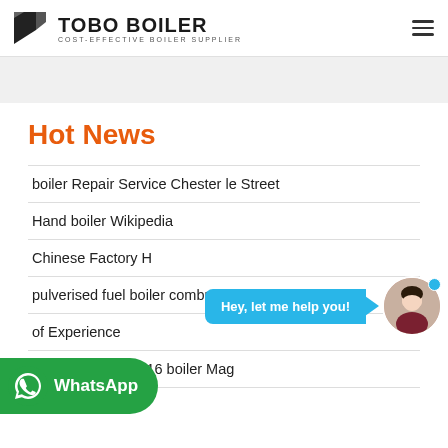TOBO BOILER COST-EFFECTIVE BOILER SUPPLIER
Hot News
boiler Repair Service Chester le Street
Hand boiler Wikipedia
Chinese Factory H...
pulverised fuel boiler combustion ppt
of Experience
News Page 10 of 16 boiler Mag